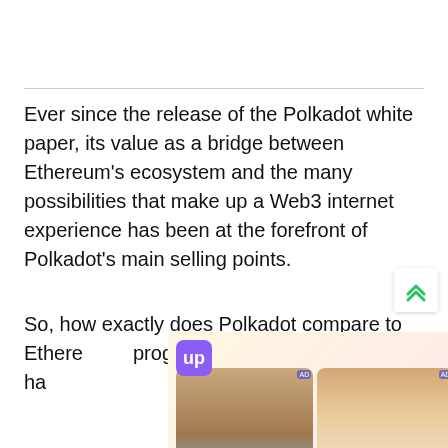Ever since the release of the Polkadot white paper, its value as a bridge between Ethereum’s ecosystem and the many possibilities that make up a Web3 internet experience has been at the forefront of Polkadot’s main selling points.
So, how exactly does Polkadot compare to Ethereum in terms of progress et, and ha a
[Figure (other): Advertisement overlay with purple logo icon and 5 photos of women, with close (X) and help (?) buttons. Background is a light pastel gradient.]